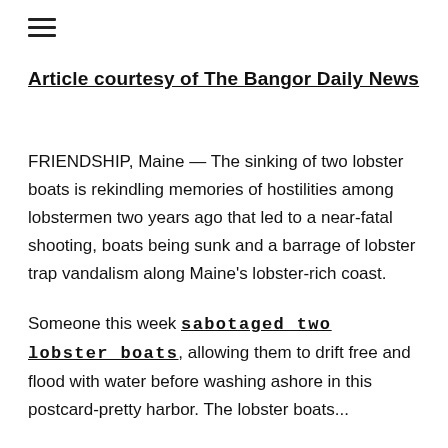☰
Article courtesy of The Bangor Daily News
FRIENDSHIP, Maine — The sinking of two lobster boats is rekindling memories of hostilities among lobstermen two years ago that led to a near-fatal shooting, boats being sunk and a barrage of lobster trap vandalism along Maine's lobster-rich coast.
Someone this week sabotaged two lobster boats, allowing them to drift free and flood with water before washing ashore in this postcard-pretty harbor. The lobster boats...